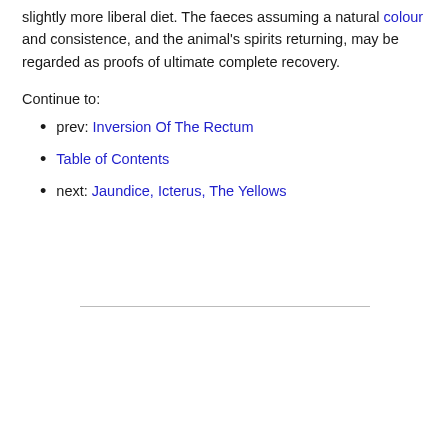slightly more liberal diet. The faeces assuming a natural colour and consistence, and the animal's spirits returning, may be regarded as proofs of ultimate complete recovery.
Continue to:
prev: Inversion Of The Rectum
Table of Contents
next: Jaundice, Icterus, The Yellows